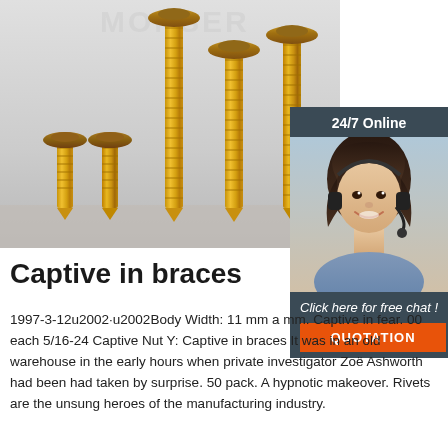[Figure (photo): Five gold/brass wood screws of varying heights arranged in a row on a grey surface, photographed close-up. Watermark text 'MONSER' visible at top.]
[Figure (photo): Customer service representative — woman with dark hair wearing a headset and blue shirt, smiling. Part of a 24/7 online chat widget with dark header and orange QUOTATION button.]
Captive in braces
1997-3-12u2002·u2002Body Width: 11 mm a mm. Captive in fear. 00 each 5/16-24 Captive Nut Y: Captive in braces It was in an old warehouse in the early hours when private investigator Zoë Ashworth had been had taken by surprise. 50 pack. A hypnotic makeover. Rivets are the unsung heroes of the manufacturing industry.